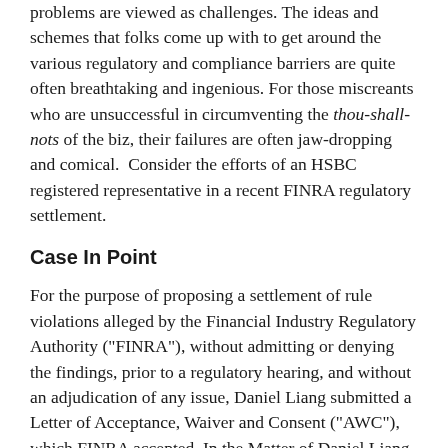problems are viewed as challenges. The ideas and schemes that folks come up with to get around the various regulatory and compliance barriers are quite often breathtaking and ingenious. For those miscreants who are unsuccessful in circumventing the thou-shall-nots of the biz, their failures are often jaw-dropping and comical. Consider the efforts of an HSBC registered representative in a recent FINRA regulatory settlement.
Case In Point
For the purpose of proposing a settlement of rule violations alleged by the Financial Industry Regulatory Authority ("FINRA"), without admitting or denying the findings, prior to a regulatory hearing, and without an adjudication of any issue, Daniel Liang submitted a Letter of Acceptance, Waiver and Consent ("AWC"), which FINRA accepted. In the Matter of Daniel Liang, Respondent (AWC 2014043578901, March 31, 2016).